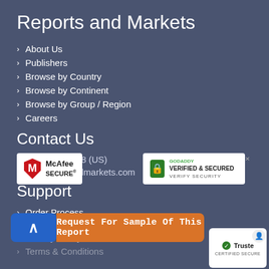Reports and Markets
About Us
Publishers
Browse by Country
Browse by Continent
Browse by Group / Region
Careers
[Figure (logo): McAfee SECURE badge]
[Figure (logo): GoDaddy Verified & Secured badge]
Contact Us
+1-352-353-0818 (US)
info@reportsandmarkets.com
Support
Order Process
[Figure (infographic): Request For Sample Of This Report CTA button bar with blue arrow button and orange text]
Privacy Policy
Terms & Conditions
[Figure (logo): Trustpilot Certified Secure badge]